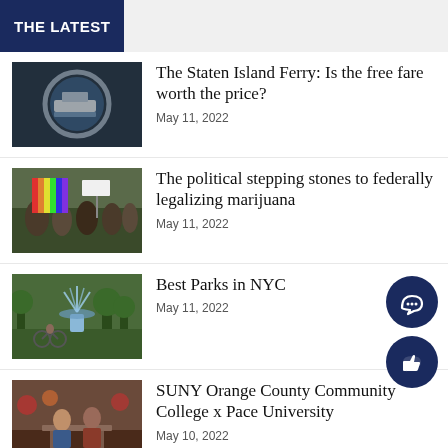THE LATEST
[Figure (photo): Thumbnail image of Staten Island Ferry through a porthole]
The Staten Island Ferry: Is the free fare worth the price?
May 11, 2022
[Figure (photo): Thumbnail image of a political march with signs and rainbow flags]
The political stepping stones to federally legalizing marijuana
May 11, 2022
[Figure (photo): Thumbnail image of a park fountain in NYC with a person on a bike]
Best Parks in NYC
May 11, 2022
[Figure (photo): Thumbnail image of students at SUNY Orange County Community College and Pace University]
SUNY Orange County Community College x Pace University
May 10, 2022
[Figure (photo): Thumbnail image of a colorful Taurus horoscope illustration]
Taurus Horoscopes
May 10, 2022